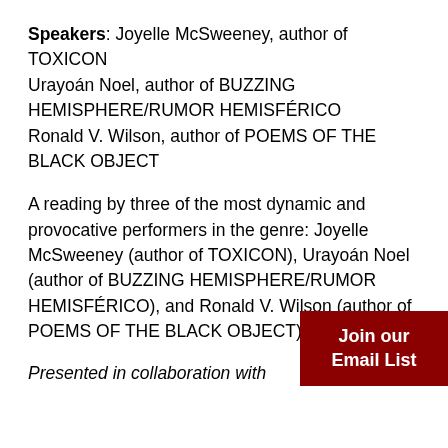Speakers: Joyelle McSweeney, author of TOXICON
Urayoán Noel, author of BUZZING HEMISPHERE/RUMOR HEMISFÉRICO
Ronald V. Wilson, author of POEMS OF THE BLACK OBJECT
A reading by three of the most dynamic and provocative performers in the genre: Joyelle McSweeney (author of TOXICON), Urayoán Noel (author of BUZZING HEMISPHERE/RUMOR HEMISFÉRICO), and Ronald V. Wilson (author of POEMS OF THE BLACK OBJECT).
Presented in collaboration with
[Figure (other): Join our Email List button — dark red rectangle with white bold text]